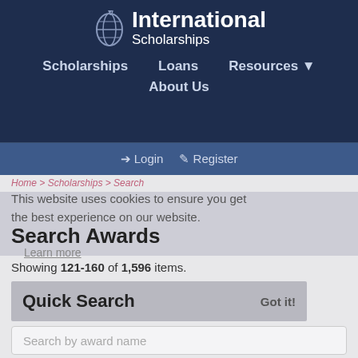[Figure (logo): International Scholarships logo with globe icon and white text]
Scholarships   Loans   Resources ▼   About Us
➔ Login  ✎ Register
Home > Scholarships > Search
This website uses cookies to ensure you get the best experience on our website.
Search Awards
Learn more
Showing 121-160 of 1,596 items.
Quick Search
Got it!
Search by award name